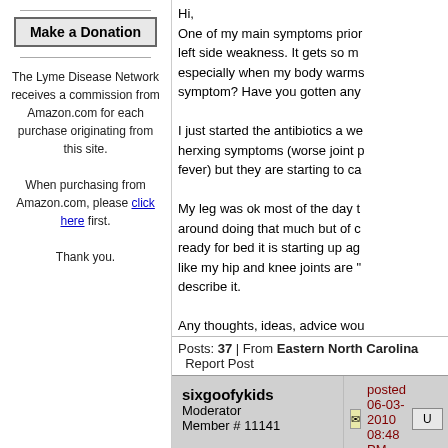[Figure (other): Make a Donation button]
The Lyme Disease Network receives a commission from Amazon.com for each purchase originating from this site.

When purchasing from Amazon.com, please click here first.

Thank you.
Hi,
One of my main symptoms prior to left side weakness. It gets so much especially when my body warms symptom? Have you gotten any

I just started the antibiotics a we herxing symptoms (worse joint p fever) but they are starting to ca

My leg was ok most of the day t around doing that much but of c ready for bed it is starting up ag like my hip and knee joints are " describe it.

Any thoughts, ideas, advice wou
Posts: 37 | From Eastern North Carolina
Report Post
sixgoofykids
Moderator
Member # 11141
posted 06-03-2010 08:48 PM
My left side was weaker. It made much stronger.

I would exercise to keep the mu pilates, and it's the perfect exero